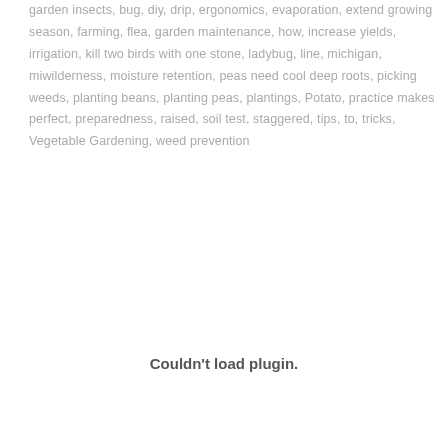garden insects, bug, diy, drip, ergonomics, evaporation, extend growing season, farming, flea, garden maintenance, how, increase yields, irrigation, kill two birds with one stone, ladybug, line, michigan, miwilderness, moisture retention, peas need cool deep roots, picking weeds, planting beans, planting peas, plantings, Potato, practice makes perfect, preparedness, raised, soil test, staggered, tips, to, tricks, Vegetable Gardening, weed prevention
Couldn't load plugin.